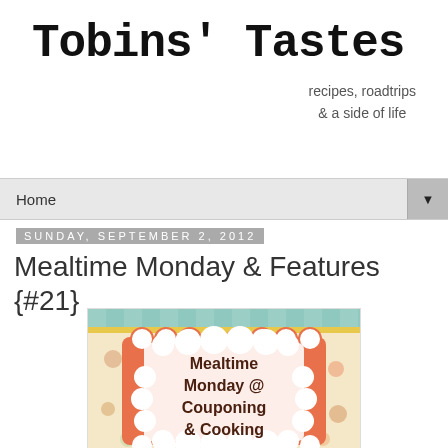Tobins' Tastes
recipes, roadtrips
& a side of life
Home
Sunday, September 2, 2012
Mealtime Monday & Features {#21}
[Figure (illustration): Mealtime Monday @ Couponing & Cooking badge/logo image with food-themed patterned background, orange scalloped border, and cloud-shaped white center containing dark brown text]